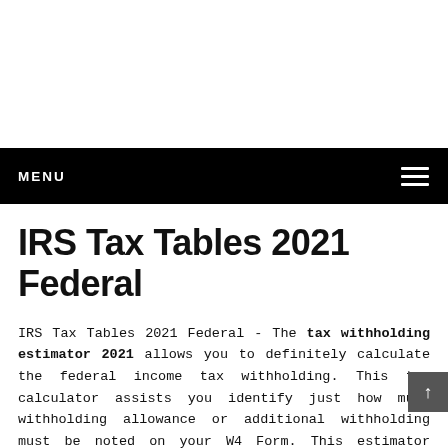MENU
IRS Tax Tables 2021 Federal
IRS Tax Tables 2021 Federal - The tax withholding estimator 2021 allows you to definitely calculate the federal income tax withholding. This tax calculator assists you identify just how much withholding allowance or additional withholding must be noted on your W4 Form. This estimator could be utilized by almost all taxpayers. Nevertheless, should your tax